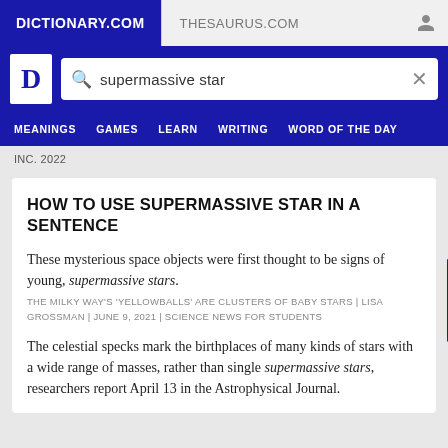DICTIONARY.COM | THESAURUS.COM
[Figure (screenshot): Dictionary.com logo with search bar containing 'supermassive star']
MEANINGS  GAMES  LEARN  WRITING  WORD OF THE DAY
INC. 2022
HOW TO USE SUPERMASSIVE STAR IN A SENTENCE
These mysterious space objects were first thought to be signs of young, supermassive stars.
THE MILKY WAY'S 'YELLOWBALLS' ARE CLUSTERS OF BABY STARS | LISA GROSSMAN | JUNE 9, 2021 | SCIENCE NEWS FOR STUDENTS
The celestial specks mark the birthplaces of many kinds of stars with a wide range of masses, rather than single supermassive stars, researchers report April 13 in the Astrophysical Journal.